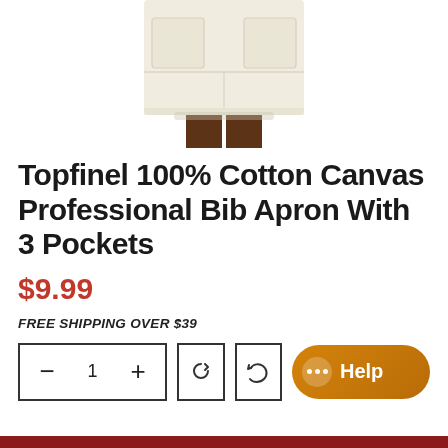[Figure (photo): Partial view of a cream/beige cotton canvas bib apron, showing the lower portion with pockets, worn by a person]
Topfinel 100% Cotton Canvas Professional Bib Apron With 3 Pockets
$9.99
FREE SHIPPING OVER $39